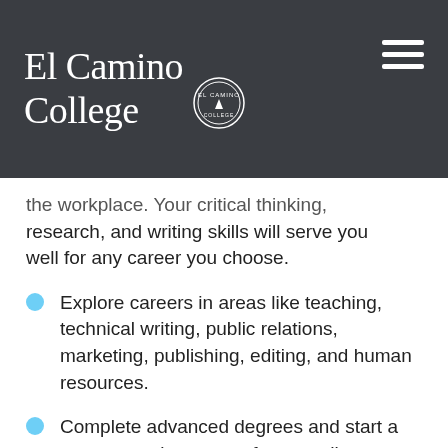El Camino College
the workplace. Your critical thinking, research, and writing skills will serve you well for any career you choose.
Explore careers in areas like teaching, technical writing, public relations, marketing, publishing, editing, and human resources.
Complete advanced degrees and start a career as a lawyer, professor, editor, librarian, and